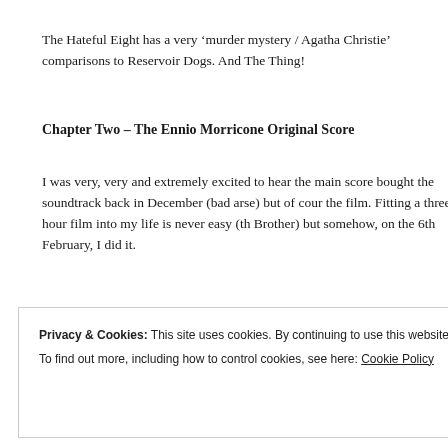The Hateful Eight has a very ‘murder mystery / Agatha Christie’ comparisons to Reservoir Dogs. And The Thing!
Chapter Two – The Ennio Morricone Original Score
I was very, very and extremely excited to hear the main score bought the soundtrack back in December (bad arse) but of cour the film. Fitting a three hour film into my life is never easy (th Brother) but somehow, on the 6th February, I did it.
Privacy & Cookies: This site uses cookies. By continuing to use this website, you agree to their use.
To find out more, including how to control cookies, see here: Cookie Policy
Close and accept